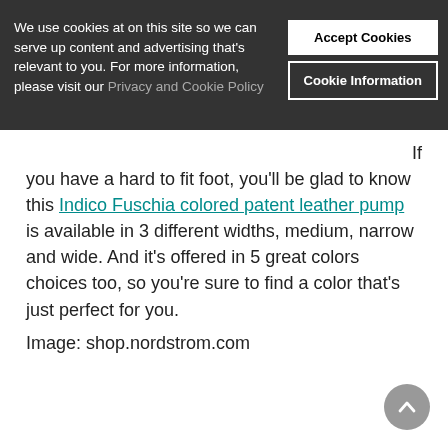We use cookies at on this site so we can serve up content and advertising that's relevant to you. For more information, please visit our Privacy and Cookie Policy
Accept Cookies
Cookie Information
If you have a hard to fit foot, you'll be glad to know this Indico Fuschia colored patent leather pump is available in 3 different widths, medium, narrow and wide. And it's offered in 5 great colors choices too, so you're sure to find a color that's just perfect for you.
Image: shop.nordstrom.com